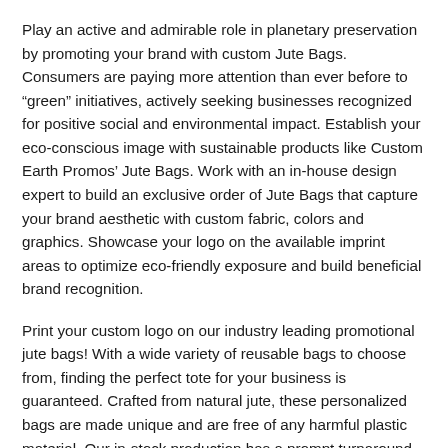Play an active and admirable role in planetary preservation by promoting your brand with custom Jute Bags. Consumers are paying more attention than ever before to “green” initiatives, actively seeking businesses recognized for positive social and environmental impact. Establish your eco-conscious image with sustainable products like Custom Earth Promos’ Jute Bags. Work with an in-house design expert to build an exclusive order of Jute Bags that capture your brand aesthetic with custom fabric, colors and graphics. Showcase your logo on the available imprint areas to optimize eco-friendly exposure and build beneficial brand recognition.
Print your custom logo on our industry leading promotional jute bags! With a wide variety of reusable bags to choose from, finding the perfect tote for your business is guaranteed. Crafted from natural jute, these personalized bags are made unique and are free of any harmful plastic material. Our in-stock production has a prompt turnaround time of two weeks, while our overseas production allows clients to add multiple colors and other